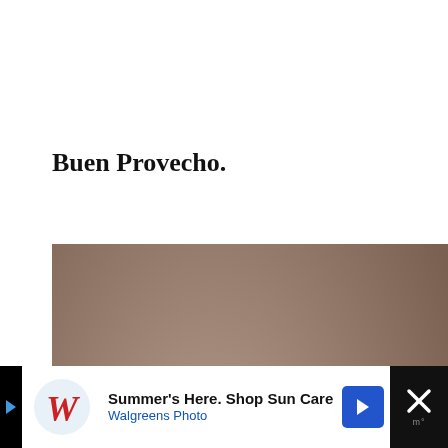Buen Provecho.
[Figure (photo): Close-up photo of a glass mason jar filled with dark reddish-brown sauce (mole or salsa), with a tomato and dried chili peppers visible in the background, and another jar of sauce behind.]
[Figure (other): Advertisement banner: Walgreens ad reading 'Summer's Here. Shop Sun Care / Walgreens Photo' with Walgreens cursive W logo and a blue navigation arrow icon, on a black background with a close/dismiss button (X) on the right.]